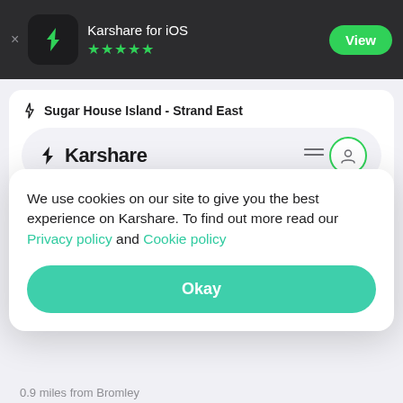[Figure (screenshot): App Store smart banner for Karshare for iOS with 5-star rating and View button on dark background]
Sugar House Island - Strand East
[Figure (screenshot): Karshare navigation bar with logo and user icon inside a pill-shaped container]
0.9 miles from Bromley
Sugar House Island - Strand East
We use cookies on our site to give you the best experience on Karshare. To find out more read our Privacy policy and Cookie policy
Okay
0.9 miles from Bromley